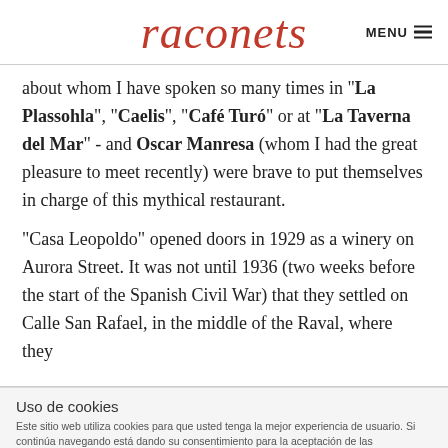raconets   MENU
about whom I have spoken so many times in "La Plassohla", "Caelis", "Café Turó" or at "La Taverna del Mar" - and Oscar Manresa (whom I had the great pleasure to meet recently) were brave to put themselves in charge of this mythical restaurant.
"Casa Leopoldo" opened doors in 1929 as a winery on Aurora Street. It was not until 1936 (two weeks before the start of the Spanish Civil War) that they settled on Calle San Rafael, in the middle of the Raval, where they
Uso de cookies
Este sitio web utiliza cookies para que usted tenga la mejor experiencia de usuario. Si continúa navegando está dando su consentimiento para la aceptación de las mencionadas cookies y la aceptación de nuestra política de cookies, pinche el enlace para mayor información.